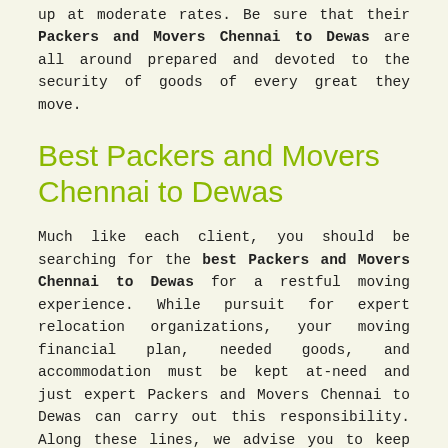up at moderate rates. Be sure that their Packers and Movers Chennai to Dewas are all around prepared and devoted to the security of goods of every great they move.
Best Packers and Movers Chennai to Dewas
Much like each client, you should be searching for the best Packers and Movers Chennai to Dewas for a restful moving experience. While pursuit for expert relocation organizations, your moving financial plan, needed goods, and accommodation must be kept at-need and just expert Packers and Movers Chennai to Dewas can carry out this responsibility. Along these lines, we advise you to keep in your brain while recruiting on the web packers and movers for relocation.
Why Prefer Packers and Movers?